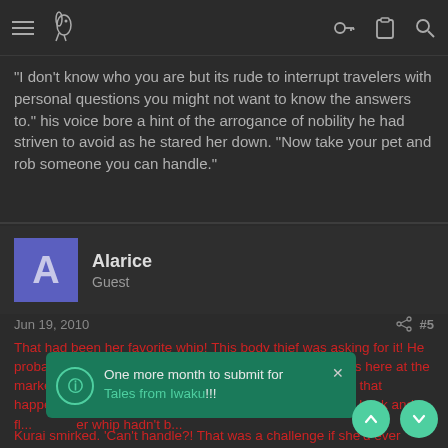Navigation bar with hamburger menu, logo, key icon, clipboard icon, search icon
"I don't know who you are but its rude to interrupt travelers with personal questions you might not want to know the answers to." his voice bore a hint of the arrogance of nobility he had striven to avoid as he stared her down. "Now take your pet and rob someone you can handle."
Alarice
Guest
Jun 19, 2010  #5
That had been her favorite whip! This body thief was asking for it! He probably stole the signet ring off of Minora's body and was here at the market to sell it off! That ring meant too much to her to let that happen! Her first intention was to grab the bullwhip at her back and fl... er whip hadn't b...
One more month to submit for Tales from Iwaku!!!
Kurai smirked. 'Can't handle?! That was a challenge if she'd ever heard